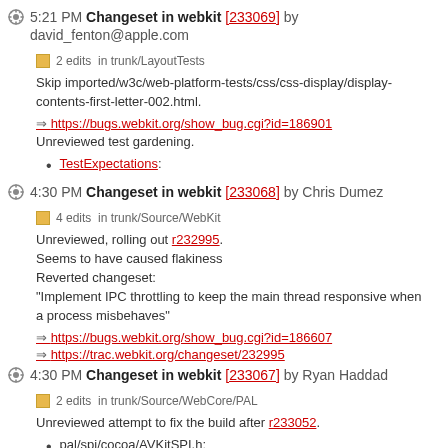5:21 PM Changeset in webkit [233069] by david_fenton@apple.com
2 edits in trunk/LayoutTests
Skip imported/w3c/web-platform-tests/css/css-display/display-contents-first-letter-002.html.
https://bugs.webkit.org/show_bug.cgi?id=186901
Unreviewed test gardening.
TestExpectations:
4:30 PM Changeset in webkit [233068] by Chris Dumez
4 edits in trunk/Source/WebKit
Unreviewed, rolling out r232995. Seems to have caused flakiness Reverted changeset: "Implement IPC throttling to keep the main thread responsive when a process misbehaves"
https://bugs.webkit.org/show_bug.cgi?id=186607
https://trac.webkit.org/changeset/232995
4:30 PM Changeset in webkit [233067] by Ryan Haddad
2 edits in trunk/Source/WebCore/PAL
Unreviewed attempt to fix the build after r233052.
pal/spi/cocoa/AVKitSPI.h:
4:1_ PM Changeset in webkit [233066] by ...